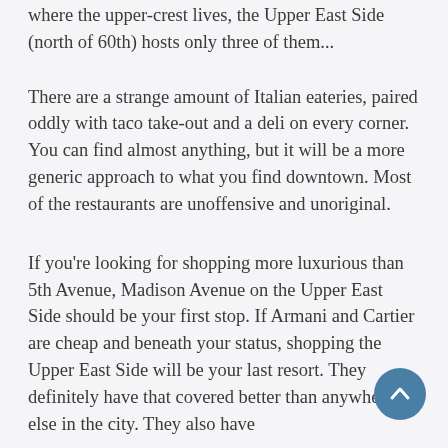where the upper-crest lives, the Upper East Side (north of 60th) hosts only three of them...
There are a strange amount of Italian eateries, paired oddly with taco take-out and a deli on every corner. You can find almost anything, but it will be a more generic approach to what you find downtown. Most of the restaurants are unoffensive and unoriginal.
If you're looking for shopping more luxurious than 5th Avenue, Madison Avenue on the Upper East Side should be your first stop. If Armani and Cartier are cheap and beneath your status, shopping the Upper East Side will be your last resort. They definitely have that covered better than anywhere else in the city. They also have...